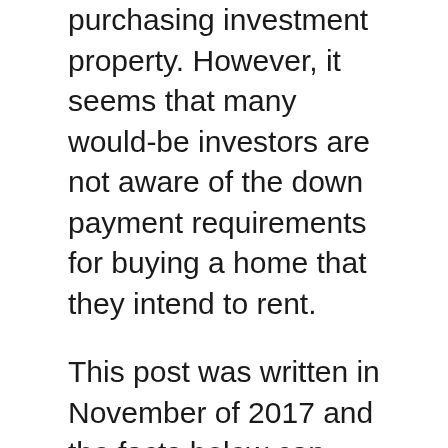purchasing investment property. However, it seems that many would-be investors are not aware of the down payment requirements for buying a home that they intend to rent.
This post was written in November of 2017 and the facts below can change so it's always best to check in with me to see if these requirements are still accurate.
This post is focused on conventional conforming loans for home purchases (excludes refinances) where the buyer intends on renting out the property. The minimum down payment required depends